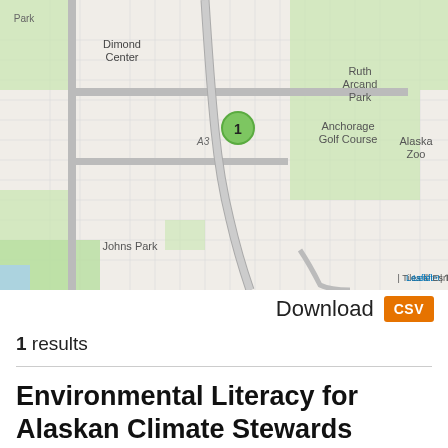[Figure (map): Street map of Anchorage, Alaska area showing Dimond Center, Ruth Arcand Park, Anchorage Golf Course, Alaska Zoo, Johns Park, and a green numbered marker (1) placed near the center of the map. Road A3 visible. Map tiles credited to Esri via Leaflet.]
Download   CSV
1 results
Environmental Literacy for Alaskan Climate Stewards (ELACS)